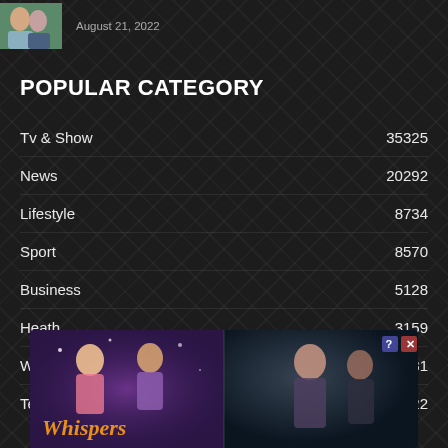[Figure (photo): Partial view of a person/couple photo thumbnail on the left with date text 'August 21, 2022' on the right]
August 21, 2022
POPULAR CATEGORY
Tv & Show    35325
News    20292
Lifestyle    8734
Sport    8570
Business    5128
Heath    3159
World    2681
Technology    122
[Figure (advertisement): Whispers app advertisement banner showing romantic illustrated characters and the Whispers logo text]